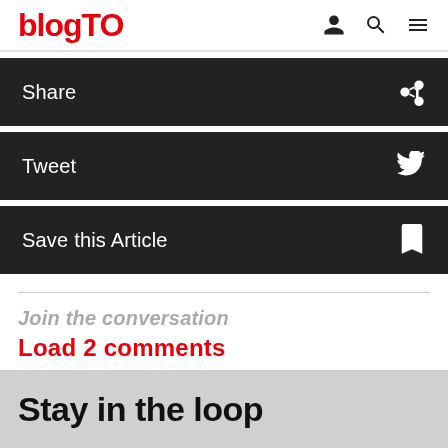blogTO
Share
Tweet
Save this Article
Join the conversation
Load 2 comments
Stay in the loop